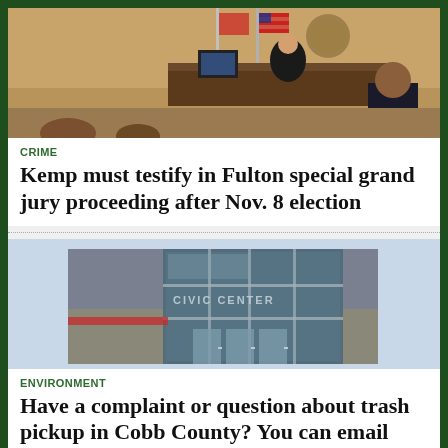[Figure (photo): A courtroom scene with a judge at the bench and a person standing before them, with an American flag visible in the background.]
CRIME
Kemp must testify in Fulton special grand jury proceeding after Nov. 8 election
[Figure (photo): Exterior of a civic or government building with large glass windows and signage partially visible reading 'CENTER'.]
ENVIRONMENT
Have a complaint or question about trash pickup in Cobb County? You can email